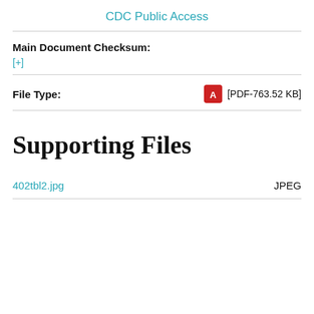CDC Public Access
Main Document Checksum:
[+]
File Type:
[PDF-763.52 KB]
Supporting Files
402tbl2.jpg
JPEG